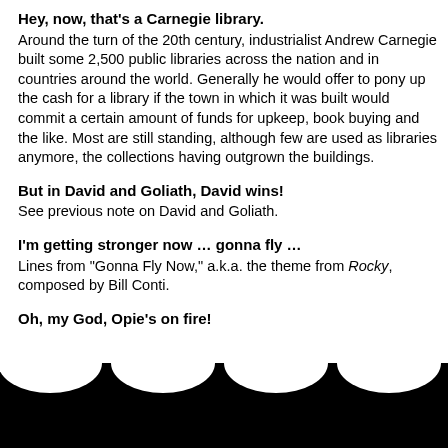Hey, now, that's a Carnegie library. Around the turn of the 20th century, industrialist Andrew Carnegie built some 2,500 public libraries across the nation and in countries around the world. Generally he would offer to pony up the cash for a library if the town in which it was built would commit a certain amount of funds for upkeep, book buying and the like. Most are still standing, although few are used as libraries anymore, the collections having outgrown the buildings.
But in David and Goliath, David wins! See previous note on David and Goliath.
I'm getting stronger now … gonna fly … Lines from "Gonna Fly Now," a.k.a. the theme from Rocky, composed by Bill Conti.
Oh, my God, Opie's on fire! See note on Opie Taylor, above.
[Figure (other): Black decorative arch silhouettes at the bottom of the page forming a border]